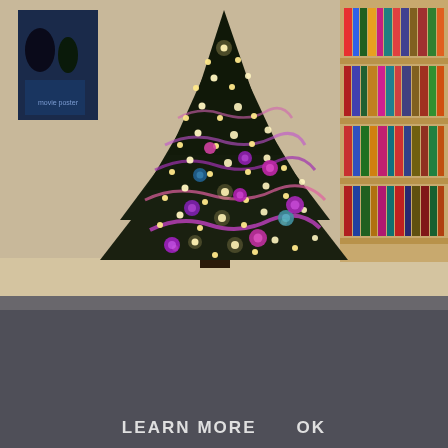[Figure (photo): A decorated Christmas tree with lights and purple/pink ornaments, tinsel garland, placed in a room with a bookshelf full of books/DVDs on the right and a movie poster (Nightmare Before Christmas style) on the upper left wall.]
This site uses cookies from Google to deliver its services and to analyze traffic. Your IP address and user-agent are shared with Google along with performance and security metrics to ensure quality of service, generate usage statistics, and to detect and address abuse.
LEARN MORE    OK